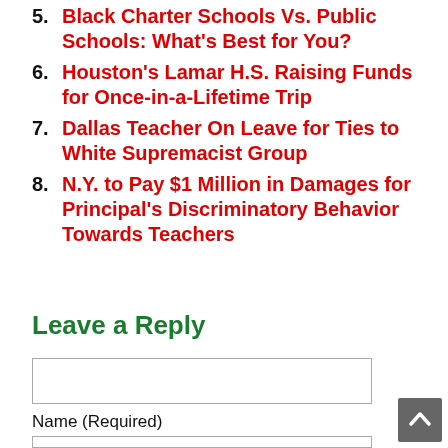5. Black Charter Schools Vs. Public Schools: What's Best for You?
6. Houston's Lamar H.S. Raising Funds for Once-in-a-Lifetime Trip
7. Dallas Teacher On Leave for Ties to White Supremacist Group
8. N.Y. to Pay $1 Million in Damages for Principal's Discriminatory Behavior Towards Teachers
Leave a Reply
Name (Required)